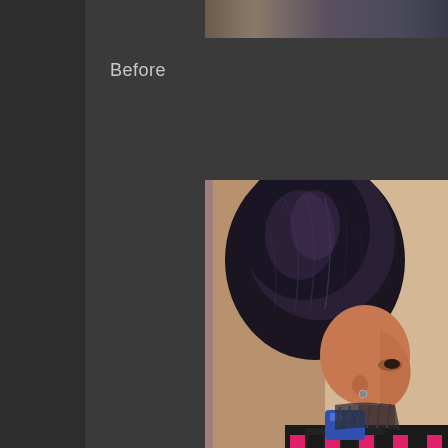[Figure (photo): Partial photo visible at top of page showing indistinct scene with dark and warm tones]
Before
[Figure (photo): Photo of a person with a very large, voluminous dark hair styled upward in a dramatic fashion, viewed from the side. Person is wearing a dark shirt with pink/magenta pattern. Background is a warm beige/mauve wall. A blue object is visible near their shoulder.]